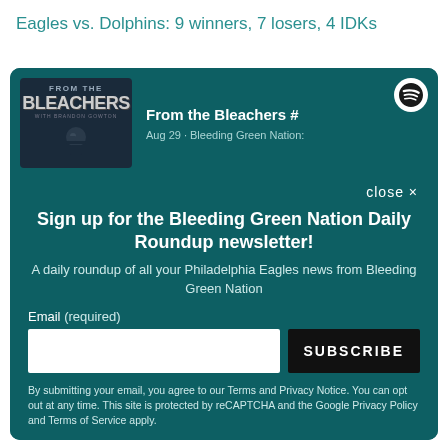Eagles vs. Dolphins: 9 winners, 7 losers, 4 IDKs
[Figure (screenshot): From the Bleachers podcast artwork showing logo and Spotify branding]
From the Bleachers #
Aug 29 · Bleeding Green Nation:
close ×
Sign up for the Bleeding Green Nation Daily Roundup newsletter!
A daily roundup of all your Philadelphia Eagles news from Bleeding Green Nation
Email (required)
SUBSCRIBE
By submitting your email, you agree to our Terms and Privacy Notice. You can opt out at any time. This site is protected by reCAPTCHA and the Google Privacy Policy and Terms of Service apply.